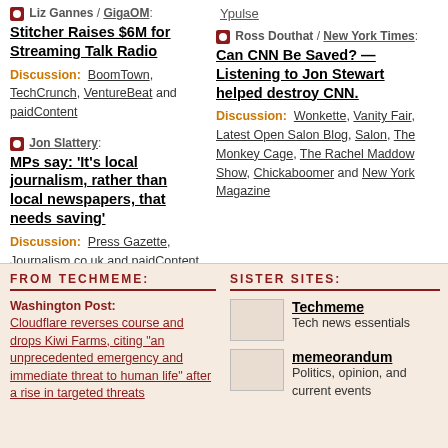Ypulse
Liz Gannes / GigaOM: Stitcher Raises $6M for Streaming Talk Radio — Discussion: BoomTown, TechCrunch, VentureBeat and paidContent
Jon Slattery: MPs say: 'It's local journalism, rather than local newspapers, that needs saving' — Discussion: Press Gazette, Journalism.co.uk and paidContent
Ross Douthat / New York Times: Can CNN Be Saved? — Listening to Jon Stewart helped destroy CNN. — Discussion: Wonkette, Vanity Fair, Latest Open Salon Blog, Salon, The Monkey Cage, The Rachel Maddow Show, Chickaboomer and New York Magazine
FROM TECHMEME:
SISTER SITES:
Washington Post: Cloudflare reverses course and drops Kiwi Farms, citing "an unprecedented emergency and immediate threat to human life" after a rise in targeted threats
Techmeme — Tech news essentials
memeorandum — Politics, opinion, and current events